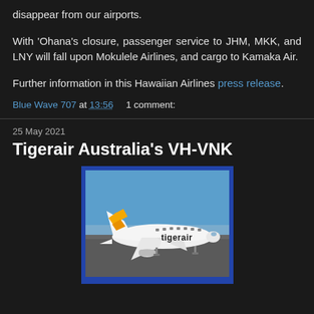disappear from our airports.
With ‘Ohana’s closure, passenger service to JHM, MKK, and LNY will fall upon Mokulele Airlines, and cargo to Kamaka Air.
Further information in this Hawaiian Airlines press release.
Blue Wave 707 at 13:56    1 comment:
25 May 2021
Tigerair Australia’s VH-VNK
[Figure (photo): Photo of a Tigerair Australia aircraft (white with tigerair livery and orange/yellow tiger stripe tail) on an airport tarmac under a blue sky, framed with a blue border.]